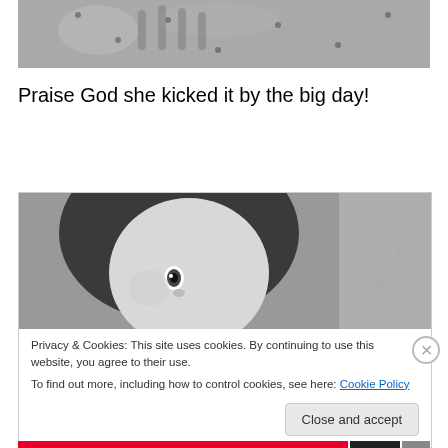[Figure (photo): Black and white photo of baby hands/feet on a textured fabric, cropped at top of page]
Praise God she kicked it by the big day!
[Figure (photo): Black and white close-up photo of a newborn baby's face looking up]
Privacy & Cookies: This site uses cookies. By continuing to use this website, you agree to their use.
To find out more, including how to control cookies, see here: Cookie Policy